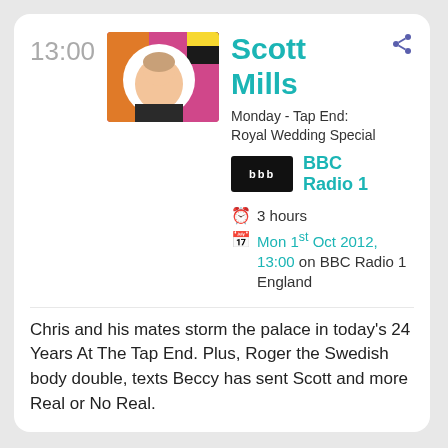13:00
[Figure (photo): Photo of Scott Mills with colourful BBC Radio 1 branding background]
Scott Mills
Monday - Tap End: Royal Wedding Special
[Figure (logo): BBC logo (white BBC text on black background)]
BBC Radio 1
3 hours
Mon 1st Oct 2012, 13:00 on BBC Radio 1 England
Chris and his mates storm the palace in today's 24 Years At The Tap End. Plus, Roger the Swedish body double, texts Beccy has sent Scott and more Real or No Real.